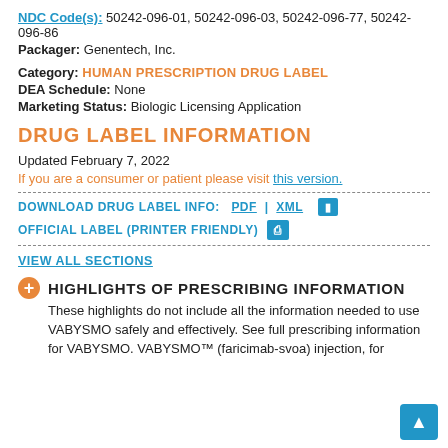NDC Code(s): 50242-096-01, 50242-096-03, 50242-096-77, 50242-096-86
Packager: Genentech, Inc.
Category: HUMAN PRESCRIPTION DRUG LABEL
DEA Schedule: None
Marketing Status: Biologic Licensing Application
DRUG LABEL INFORMATION
Updated February 7, 2022
If you are a consumer or patient please visit this version.
DOWNLOAD DRUG LABEL INFO:  PDF | XML
OFFICIAL LABEL (PRINTER FRIENDLY)
VIEW ALL SECTIONS
HIGHLIGHTS OF PRESCRIBING INFORMATION
These highlights do not include all the information needed to use VABYSMO safely and effectively. See full prescribing information for VABYSMO. VABYSMO™ (faricimab-svoa) injection, for